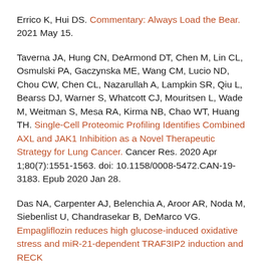Errico K, Hui DS. Commentary: Always Load the Bear. 2021 May 15.
Taverna JA, Hung CN, DeArmond DT, Chen M, Lin CL, Osmulski PA, Gaczynska ME, Wang CM, Lucio ND, Chou CW, Chen CL, Nazarullah A, Lampkin SR, Qiu L, Bearss DJ, Warner S, Whatcott CJ, Mouritsen L, Wade M, Weitman S, Mesa RA, Kirma NB, Chao WT, Huang TH. Single-Cell Proteomic Profiling Identifies Combined AXL and JAK1 Inhibition as a Novel Therapeutic Strategy for Lung Cancer. Cancer Res. 2020 Apr 1;80(7):1551-1563. doi: 10.1158/0008-5472.CAN-19-3183. Epub 2020 Jan 28.
Das NA, Carpenter AJ, Belenchia A, Aroor AR, Noda M, Siebenlist U, Chandrasekar B, DeMarco VG. Empagliflozin reduces high glucose-induced oxidative stress and miR-21-dependent TRAF3IP2 induction and RECK